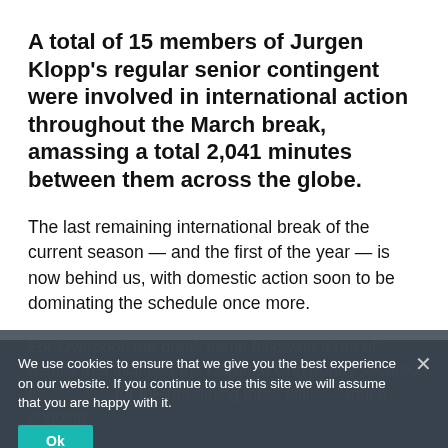A total of 15 members of Jurgen Klopp's regular senior contingent were involved in international action throughout the March break, amassing a total 2,041 minutes between them across the globe.
The last remaining international break of the current season — and the first of the year — is now behind us, with domestic action soon to be dominating the schedule once more.
For Liverpool, the break came following a run of results that included the Carabao Cup trophy secured at Wembley, with the remaining three still much ongoing.
We use cookies to ensure that we give you the best experience on our website. If you continue to use this site we will assume that you are happy with it.